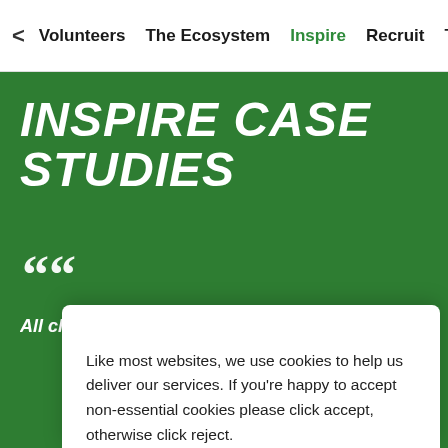< Volunteers  The Ecosystem  Inspire  Recruit  Train >
INSPIRE CASE STUDIES
““ All clubs have a story. It is about connecting and learning
Like most websites, we use cookies to help us deliver our services. If you're happy to accept non-essential cookies please click accept, otherwise click reject.
Accept   Reject